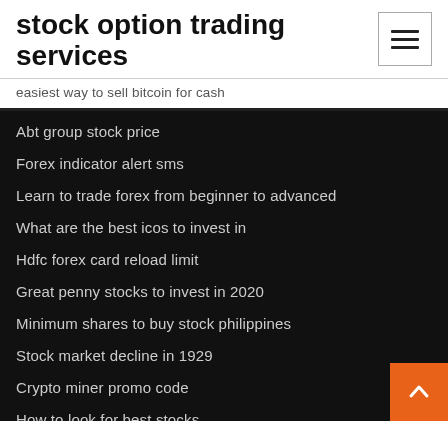stock option trading services
easiest way to sell bitcoin for cash
Abt group stock price
Forex indicator alert sms
Learn to trade forex from beginner to advanced
What are the best icos to invest in
Hdfc forex card reload limit
Great penny stocks to invest in 2020
Minimum shares to buy stock philippines
Stock market decline in 1929
Crypto miner promo code
How to look for best stocks